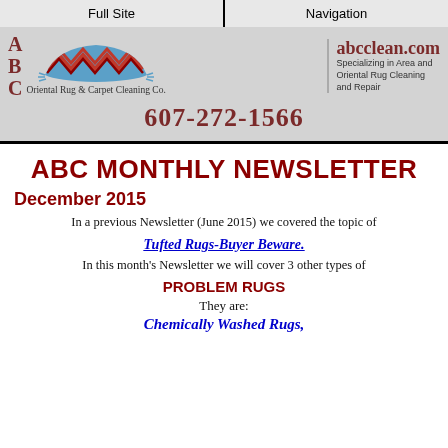Full Site | Navigation
[Figure (logo): ABC Oriental Rug & Carpet Cleaning Co. banner with rug illustration, website abcclean.com, tagline Specializing in Area and Oriental Rug Cleaning and Repair, phone 607-272-1566]
ABC MONTHLY NEWSLETTER
December 2015
In a previous Newsletter (June 2015) we covered the topic of
Tufted Rugs-Buyer Beware.
In this month's Newsletter we will cover 3 other types of
PROBLEM RUGS
They are:
Chemically Washed Rugs,